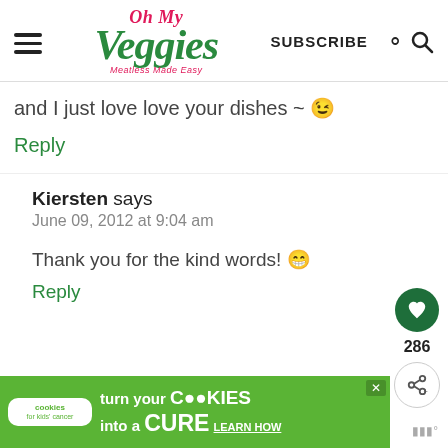Oh My Veggies - Meatless Made Easy
and I just love love your dishes ~ 😁
Reply
Kiersten says
June 09, 2012 at 9:04 am
Thank you for the kind words! 😁
Reply
[Figure (other): Advertisement banner: cookies for kids cancer - turn your cookies into a CURE LEARN HOW]